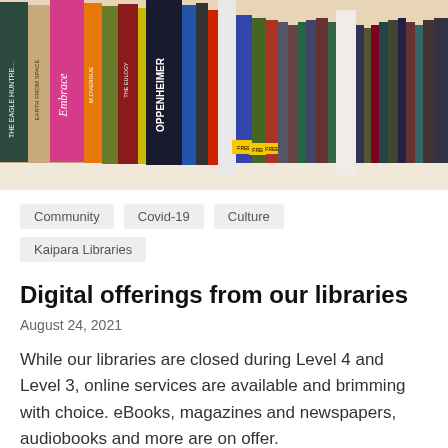[Figure (photo): A close-up photograph of library bookshelves showing book spines including titles like 'Embrace', 'The Eagle Huntress', 'Oppenheimer', 'The Eulogy', and others, with some books marked 'FREE'.]
Community
Covid-19
Culture
Kaipara Libraries
Digital offerings from our libraries
August 24, 2021
While our libraries are closed during Level 4 and Level 3, online services are available and brimming with choice. eBooks, magazines and newspapers, audiobooks and more are on offer.